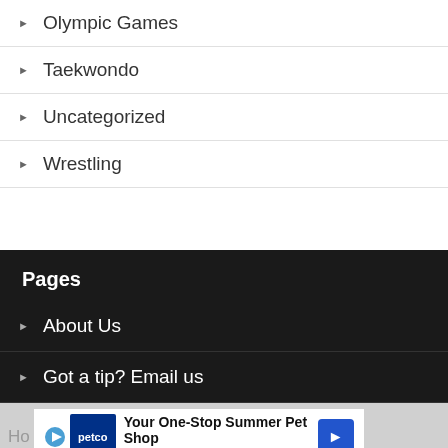Olympic Games
Taekwondo
Uncategorized
Wrestling
Pages
About Us
Got a tip? Email us
Ho